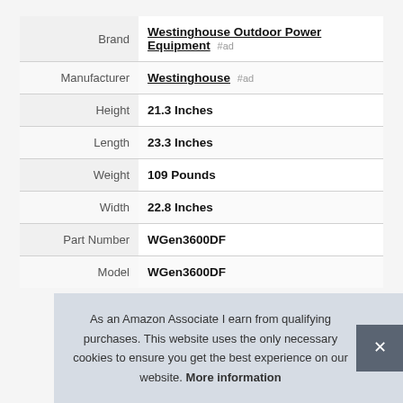| Attribute | Value |
| --- | --- |
| Brand | Westinghouse Outdoor Power Equipment #ad |
| Manufacturer | Westinghouse #ad |
| Height | 21.3 Inches |
| Length | 23.3 Inches |
| Weight | 109 Pounds |
| Width | 22.8 Inches |
| Part Number | WGen3600DF |
| Model | WGen3600DF |
As an Amazon Associate I earn from qualifying purchases. This website uses the only necessary cookies to ensure you get the best experience on our website. More information